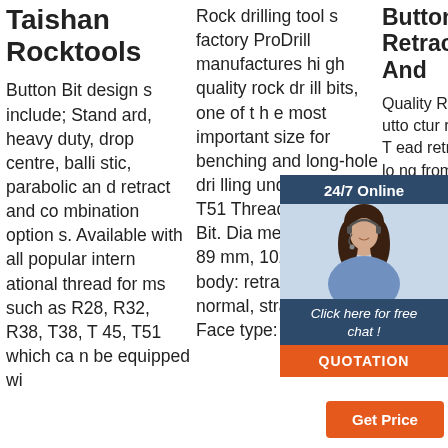Taishan Rocktools
Button Bit designs include; Standard, heavy duty, drop centre, ballistic, parabolic and retract and combination options. Available with all popular international thread forms such as R28, R32, R38, T38, T45, T51 which can be equipped wi
Rock drilling tools factory ProDrill manufactures high quality rock drill bits, one of the most important size for benching and long-hole drilling underground is T51 Threaded Button Bit. Diameter: 76mm, 89mm, 102mm. Skirt body: retrac, and normal, straig htrac. Face type:
Button Bit Retrac And
Quality Retrac Button Bit manufacturer - buy T51 Thread retrac e fo g, lo ng from China manufacturer.
[Figure (infographic): Customer service widget with '24/7 Online' header in dark blue, photo of woman with headset, 'Click here for free chat!' text, orange QUOTATION button, orange TOP back-to-top button with dots, and orange Get Price button.]